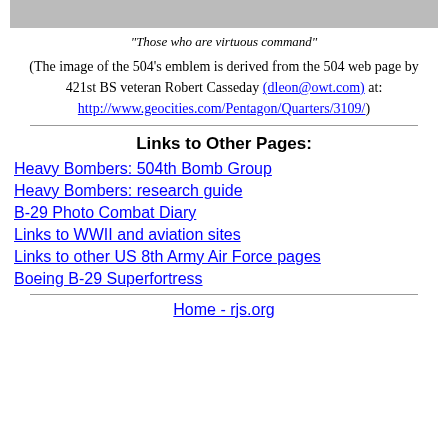[Figure (photo): Partial image of the 504th bomb group emblem at top of page]
"Those who are virtuous command"
(The image of the 504's emblem is derived from the 504 web page by 421st BS veteran Robert Casseday (dleon@owt.com) at: http://www.geocities.com/Pentagon/Quarters/3109/)
Links to Other Pages:
Heavy Bombers: 504th Bomb Group
Heavy Bombers: research guide
B-29 Photo Combat Diary
Links to WWII and aviation sites
Links to other US 8th Army Air Force pages
Boeing B-29 Superfortress
Home - rjs.org